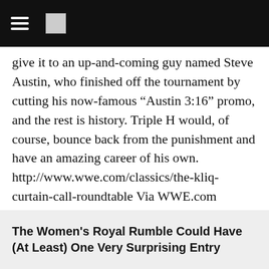give it to an up-and-coming guy named Steve Austin, who finished off the tournament by cutting his now-famous “Austin 3:16” promo, and the rest is history. Triple H would, of course, bounce back from the punishment and have an amazing career of his own. http://www.wwe.com/classics/the-kliq-curtain-call-roundtable Via WWE.com
The Women's Royal Rumble Could Have (At Least) One Very Surprising Entry